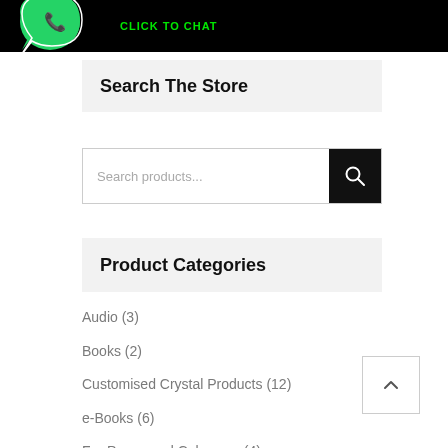[Figure (screenshot): WhatsApp click to chat banner with green WhatsApp logo on black background, text 'CLICK TO CHAT' in green]
Search The Store
[Figure (screenshot): Search products... input bar with black search button icon]
Product Categories
Audio (3)
Books (2)
Customised Crystal Products (12)
e-Books (6)
For Peace and Calmness (4)